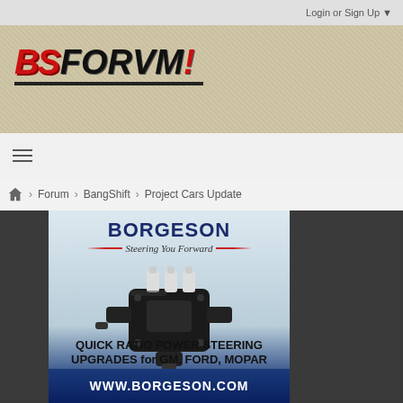Login or Sign Up ▼
[Figure (logo): BSForum! logo on textured banner background]
[Figure (other): Hamburger menu icon (three horizontal lines)]
Forum › BangShift › Project Cars Update
[Figure (photo): Borgeson advertisement: Quick Ratio Power Steering Upgrades for GM, Ford, Mopar. Shows a black power steering gear box. WWW.BORGESON.COM]